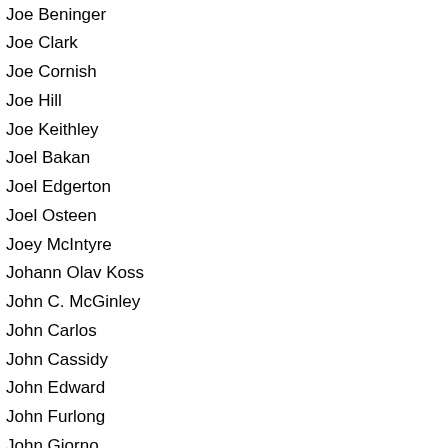Joe Beninger
Joe Clark
Joe Cornish
Joe Hill
Joe Keithley
Joel Bakan
Joel Edgerton
Joel Osteen
Joey McIntyre
Johann Olav Koss
John C. McGinley
John Carlos
John Cassidy
John Edward
John Furlong
John Giorno
John Groyson and Tarek Loubani